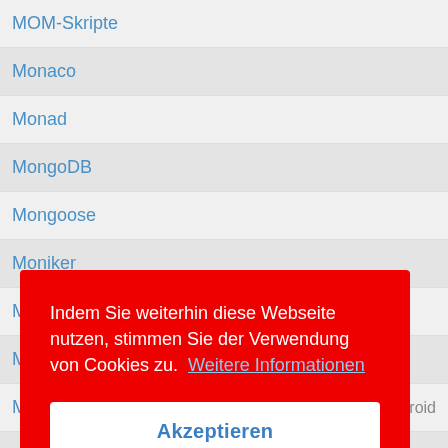MOM-Skripte
Monaco
Monad
MongoDB
Mongoose
Moniker
Mono
Mono Develop
Mono for Android  MonoDroid
MonoDevelop
Multi File Assembly  MPA
Indem Sie weiterhin diese Webseite nutzen, stimmen Sie der Verwendung von Cookies zu.  Weitere Informationen
Akzeptieren